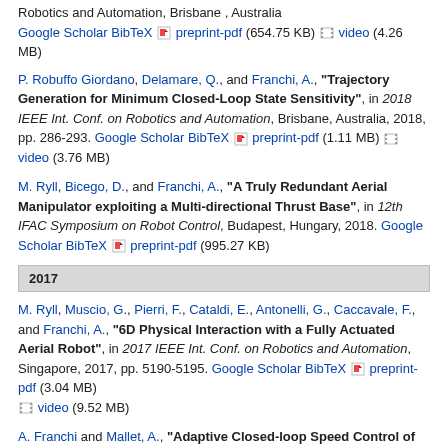Robotics and Automation, Brisbane, Australia Google Scholar BibTeX preprint-pdf (654.75 KB) video (4.26 MB)
P. Robuffo Giordano, Delamare, Q., and Franchi, A., "Trajectory Generation for Minimum Closed-Loop State Sensitivity", in 2018 IEEE Int. Conf. on Robotics and Automation, Brisbane, Australia, 2018, pp. 286-293. Google Scholar BibTeX preprint-pdf (1.11 MB) video (3.76 MB)
M. Ryll, Bicego, D., and Franchi, A., "A Truly Redundant Aerial Manipulator exploiting a Multi-directional Thrust Base", in 12th IFAC Symposium on Robot Control, Budapest, Hungary, 2018. Google Scholar BibTeX preprint-pdf (995.27 KB)
2017
M. Ryll, Muscio, G., Pierri, F., Cataldi, E., Antonelli, G., Caccavale, F., and Franchi, A., "6D Physical Interaction with a Fully Actuated Aerial Robot", in 2017 IEEE Int. Conf. on Robotics and Automation, Singapore, 2017, pp. 5190-5195. Google Scholar BibTeX preprint-pdf (3.04 MB) video (9.52 MB)
A. Franchi and Mallet, A., "Adaptive Closed-loop Speed Control of BLDC Motors with Applications to Multi-rotor Aerial Vehicles", in 2017 IEEE Int. Conf. on Robotics and Automation, Singapore,